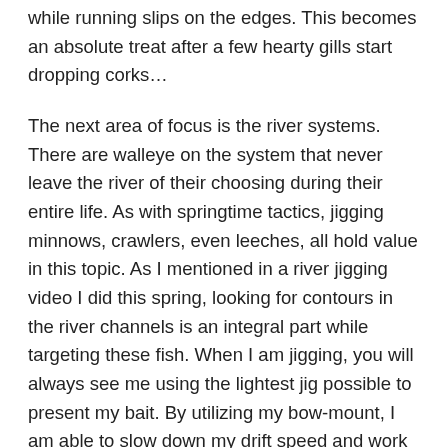while running slips on the edges. This becomes an absolute treat after a few hearty gills start dropping corks…
The next area of focus is the river systems. There are walleye on the system that never leave the river of their choosing during their entire life. As with springtime tactics, jigging minnows, crawlers, even leeches, all hold value in this topic. As I mentioned in a river jigging video I did this spring, looking for contours in the river channels is an integral part while targeting these fish. When I am jigging, you will always see me using the lightest jig possible to present my bait. By utilizing my bow-mount, I am able to slow down my drift speed and work each area longer before the full drift of the specific area has been completed.
The rivers are a unique environment by themselves. Some species spawn in the rivers, which in turn offers a hatch ripe for the chomping. With this happening, it not only brings in the jigging aspect but also the fly pulling tactics of springtime fishing. When we pull or pump flies, we are mimicking baitfish. With